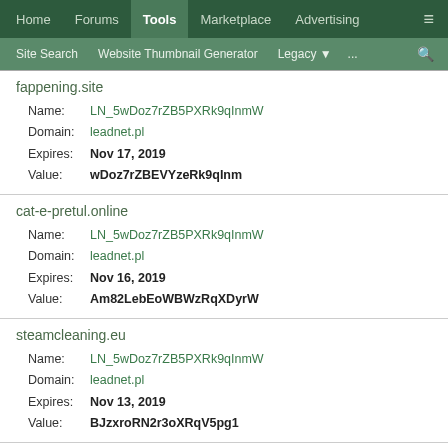Home | Forums | Tools | Marketplace | Advertising | ≡
Site Search | Website Thumbnail Generator | Legacy ▼ | ... | 🔍
fappening.site
Name: LN_5wDoz7rZB5PXRk9qInmW
Domain: leadnet.pl
Expires: Nov 17, 2019
Value: wDoz7rZBEVYzeRk9qInm
cat-e-pretul.online
Name: LN_5wDoz7rZB5PXRk9qInmW
Domain: leadnet.pl
Expires: Nov 16, 2019
Value: Am82LebEoWBWzRqXDyrW
steamcleaning.eu
Name: LN_5wDoz7rZB5PXRk9qInmW
Domain: leadnet.pl
Expires: Nov 13, 2019
Value: BJzxroRN2r3oXRqV5pg1
tedecoindustrial.com
Name: LN_5wDoz7rZB5PXRk9qInmW
Domain: leadnet.pl